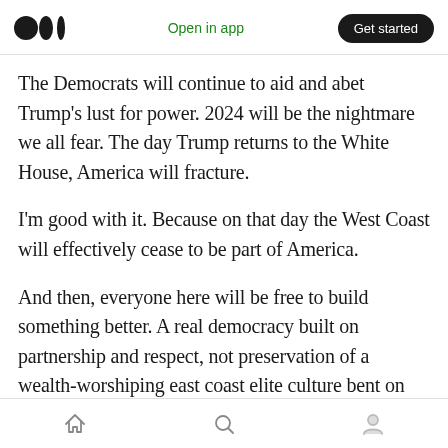Open in app | Get started
The Democrats will continue to aid and abet Trump's lust for power. 2024 will be the nightmare we all fear. The day Trump returns to the White House, America will fracture.
I'm good with it. Because on that day the West Coast will effectively cease to be part of America.
And then, everyone here will be free to build something better. A real democracy built on partnership and respect, not preservation of a wealth-worshiping east coast elite culture bent on imitating ancient Rome.
Home | Search | Profile